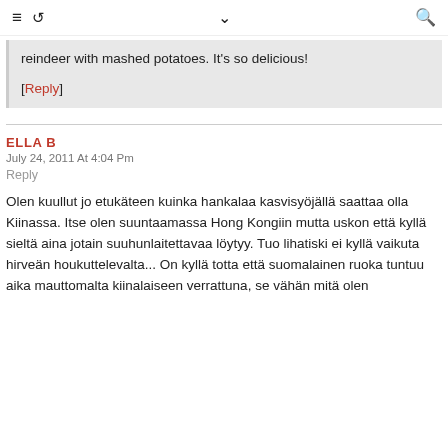≡ ↺ ∨ 🔍
reindeer with mashed potatoes. It's so delicious!
[Reply]
ELLA B
July 24, 2011 At 4:04 Pm
Reply
Olen kuullut jo etukäteen kuinka hankalaa kasvisyöjällä saattaa olla Kiinassa. Itse olen suuntaamassa Hong Kongiin mutta uskon että kyllä sieltä aina jotain suuhunlaitettavaa löytyy. Tuo lihatiski ei kyllä vaikuta hirveän houkuttelevalta... On kyllä totta että suomalainen ruoka tuntuu aika mauttomalta kiinalaiseen verrattuna, se vähän mitä olen